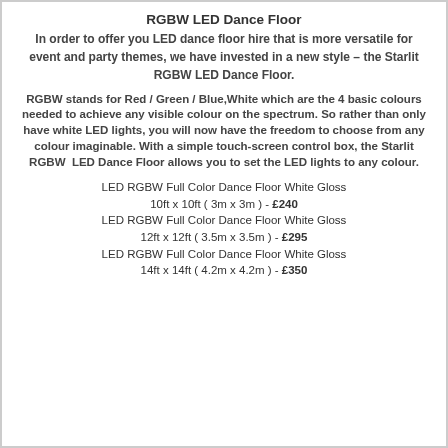RGBW LED Dance Floor
In order to offer you LED dance floor hire that is more versatile for event and party themes, we have invested in a new style – the Starlit RGBW LED Dance Floor.
RGBW stands for Red / Green / Blue,White which are the 4 basic colours needed to achieve any visible colour on the spectrum. So rather than only have white LED lights, you will now have the freedom to choose from any colour imaginable. With a simple touch-screen control box, the Starlit RGBW LED Dance Floor allows you to set the LED lights to any colour.
LED RGBW Full Color Dance Floor White Gloss 10ft x 10ft ( 3m x 3m ) - £240
LED RGBW Full Color Dance Floor White Gloss 12ft x 12ft ( 3.5m x 3.5m ) - £295
LED RGBW Full Color Dance Floor White Gloss 14ft x 14ft ( 4.2m x 4.2m ) - £350